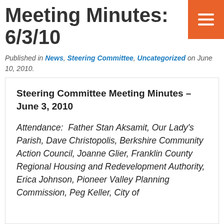Meeting Minutes: 6/3/10
Published in News, Steering Committee, Uncategorized on June 10, 2010.
Steering Committee Meeting Minutes – June 3, 2010
Attendance:  Father Stan Aksamit, Our Lady's Parish, Dave Christopolis, Berkshire Community Action Council, Joanne Glier, Franklin County Regional Housing and Redevelopment Authority, Erica Johnson, Pioneer Valley Planning Commission, Peg Keller, City of